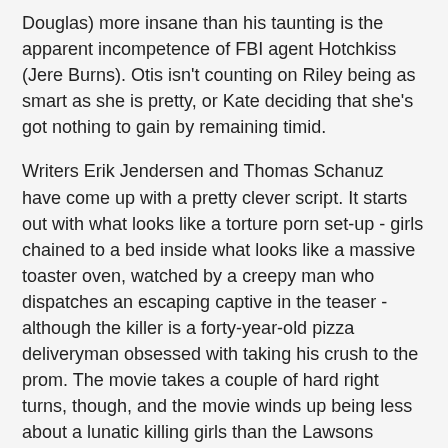Douglas) more insane than his taunting is the apparent incompetence of FBI agent Hotchkiss (Jere Burns). Otis isn't counting on Riley being as smart as she is pretty, or Kate deciding that she's got nothing to gain by remaining timid.
Writers Erik Jendersen and Thomas Schanuz have come up with a pretty clever script. It starts out with what looks like a torture porn set-up - girls chained to a bed inside what looks like a massive toaster oven, watched by a creepy man who dispatches an escaping captive in the teaser - although the killer is a forty-year-old pizza deliveryman obsessed with taking his crush to the prom. The movie takes a couple of hard right turns, though, and the movie winds up being less about a lunatic killing girls than the Lawsons deciding to take the law into their own hands. It's to their credit that the story can change direction a couple of times without ever feeling disjointed.
The cast is pretty good, too - Illeana Douglas walks off with every scene she's in, whether she's called on to be impatient, frightened, or half-crazy with her thirst for revenge. You almost have to feel a little bad for Daniel Stern, whose